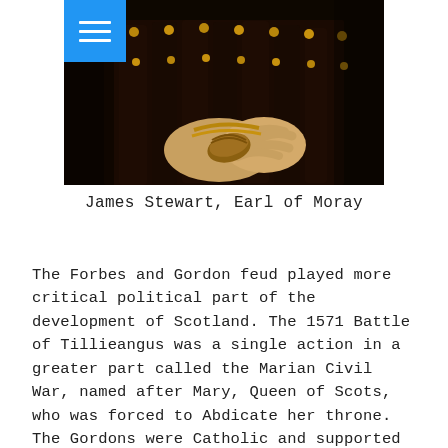[Figure (photo): A dark Renaissance-style portrait painting showing a figure in ornate dark clothing with gold buttons, holding what appears to be a rolled document or gloves. A blue menu button with three white horizontal lines is overlaid in the upper-left corner of the image.]
James Stewart, Earl of Moray
The Forbes and Gordon feud played more critical political part of the development of Scotland. The 1571 Battle of Tillieangus was a single action in a greater part called the Marian Civil War, named after Mary, Queen of Scots, who was forced to Abdicate her throne. The Gordons were Catholic and supported the then disposed Queen Mary of Scots, while the Forbeses supported